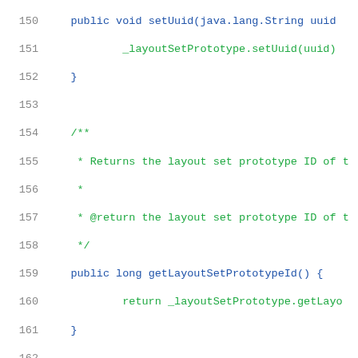[Figure (screenshot): Java source code snippet showing methods setUuid, getLayoutSetPrototypeId, setLayoutSetPrototypeId, and getCompanyId with Javadoc comments, line numbers 150-179, displayed in a code editor style with blue keywords and green comments.]